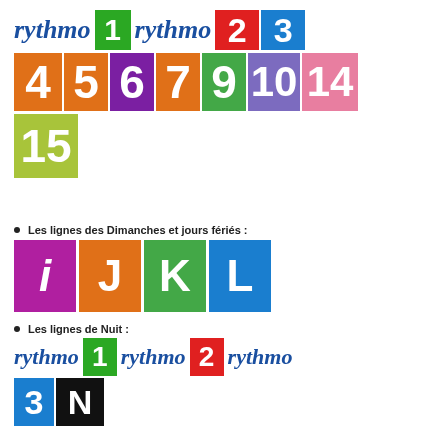[Figure (infographic): Rythmo line numbers 1-15 displayed as colored blocks with italic rythmo text labels. Row 1: rythmo (blue italic) + green block '1' + rythmo (blue italic) + red block '2' + blue block '3'. Row 2: orange '4', orange '5', purple '6', orange '7', green '9', purple '10', pink '14'. Row 3: lime green '15'.]
Les lignes des Dimanches et jours fériés :
[Figure (infographic): Colored letter blocks for Sunday/holiday lines: magenta 'i', orange 'J', green 'K', blue 'L']
Les lignes de Nuit :
[Figure (infographic): Night lines: rythmo (blue italic) + green block '1' + rythmo (blue italic) + red block '2' + rythmo (blue italic) then blue block '3' + black block 'N']